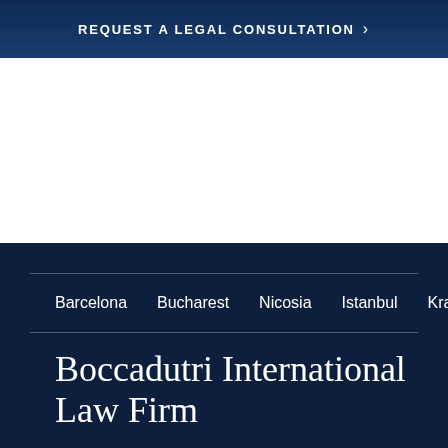REQUEST A LEGAL CONSULTATION ›
Barcelona   Bucharest   Nicosia   Istanbul   Kraków   Londo
Boccadutri International Law Firm